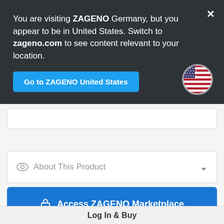You are visiting ZAGENO Germany, but you appear to be in United States. Switch to zageno.com to see content relevant to your location.
Go to ZAGENO United States
About This Product
Access ZAGENO Marketplace
Log In & Buy